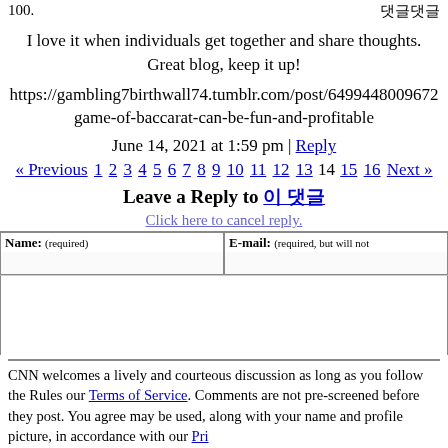100. 댓글댓글
I love it when individuals get together and share thoughts. Great blog, keep it up!
https://gambling7birthwall74.tumblr.com/post/6499448009672 game-of-baccarat-can-be-fun-and-profitable
June 14, 2021 at 1:59 pm | Reply
« Previous 1 2 3 4 5 6 7 8 9 10 11 12 13 14 15 16 Next »
Leave a Reply to 이 댓글
Click here to cancel reply.
CNN welcomes a lively and courteous discussion as long as you follow the Rules our Terms of Service. Comments are not pre-screened before they post. You agree may be used, along with your name and profile picture, in accordance with our Pri